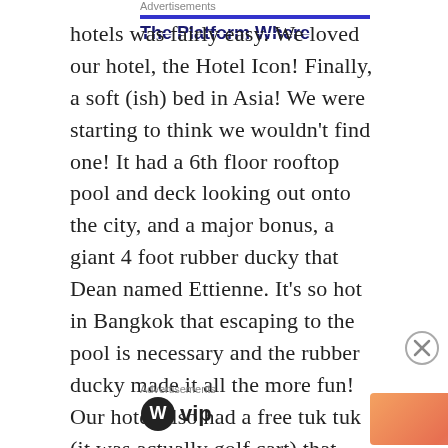hotels was fairly easy. We loved our hotel, the Hotel Icon! Finally, a soft (ish) bed in Asia! We were starting to think we wouldn't find one! It had a 6th floor rooftop pool and deck looking out onto the city, and a major bonus, a giant 4 foot rubber ducky that Dean named Ettienne. It's so hot in Bangkok that escaping to the pool is necessary and the rubber ducky made it all the more fun! Our hotel also had a free tuk tuk (it was actually golf cart) that would take you to the main road which was a nice touch.
Advertisements
The Platform Where
Advertisements
[Figure (logo): WordPress VIP logo with globe icon and 'vip' text]
[Figure (other): Advertisement banner with gradient background and 'Learn more' button]